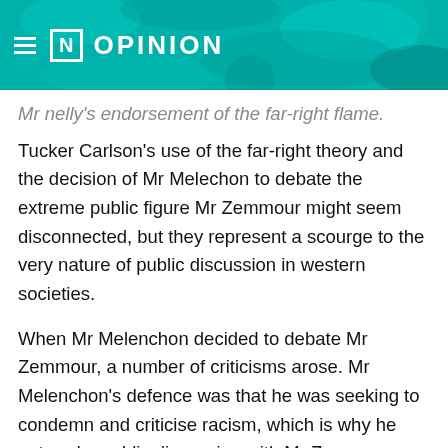≡ [N] OPINION
Mr Melle's endorsement of the far-right flame.
Tucker Carlson's use of the far-right theory and the decision of Mr Melechon to debate the extreme public figure Mr Zemmour might seem disconnected, but they represent a scourge to the very nature of public discussion in western societies.
When Mr Melenchon decided to debate Mr Zemmour, a number of criticisms arose. Mr Melenchon's defence was that he was seeking to condemn and criticise racism, which is why he entered a public discussion with Mr Zemmour.